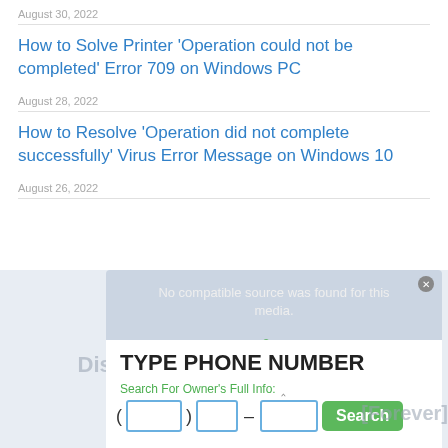August 30, 2022
How to Solve Printer ‘Operation could not be completed’ Error 709 on Windows PC
August 28, 2022
How to Resolve ‘Operation did not complete successfully’ Virus Error Message on Windows 10
August 26, 2022
[Figure (screenshot): Advertisement overlay: BeenVerified phone number lookup widget. Shows 'No compatible source was found for this media.' text, 'Powered By BeenVerified' branding, 'TYPE PHONE NUMBER' heading, 'Search For Owner\'s Full Info:' label, phone number input fields with area code, prefix, and suffix boxes, and a green Search button. Background shows faded text 'Disable Windows to Upgrade [Forever]'.]